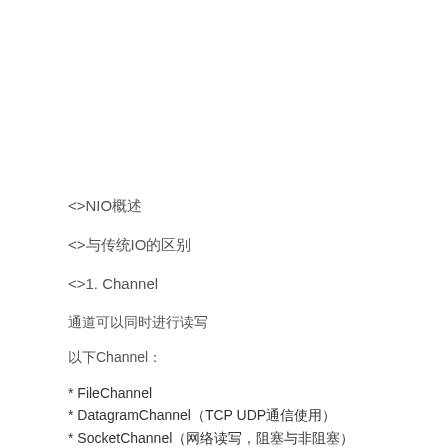<>NIO概述
<>与传统IO的区别
<>1. Channel
通道可以同时进行读写
以下Channel：
* FileChannel
* DatagramChannel（TCP UDP通信使用）
* SocketChannel（网络读写，阻塞与非阻塞）